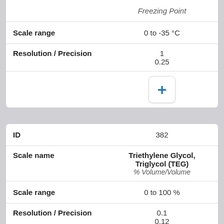|  | Freezing Point |
| --- | --- |
| Scale range | 0 to -35 °C |
| Resolution / Precision | 1
0.25 |
|  | + |
| ID | 382 |
| Scale name | Triethylene Glycol, Triglycol (TEG)
% Volume/Volume |
| Scale range | 0 to 100 % |
| Resolution / Precision | 0.1
0.12 |